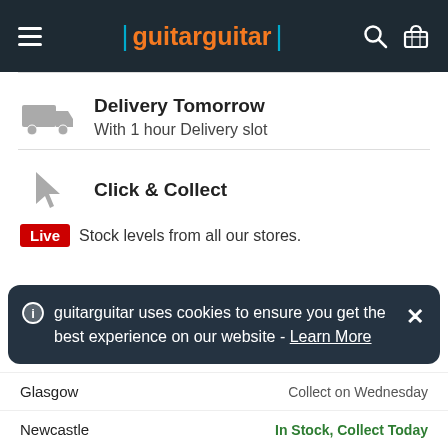guitarguitar
Delivery Tomorrow
With 1 hour Delivery slot
Click & Collect
Live  Stock levels from all our stores.
guitarguitar uses cookies to ensure you get the best experience on our website - Learn More
Glasgow    Collect on Wednesday
Newcastle    In Stock, Collect Today